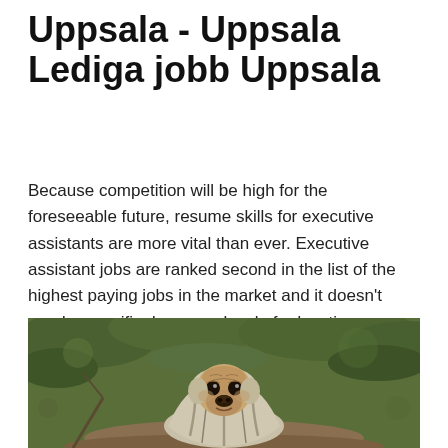Uppsala - Uppsala Lediga jobb Uppsala
Because competition will be high for the foreseeable future, resume skills for executive assistants are more vital than ever. Executive assistant jobs are ranked second in the list of the highest paying jobs in the market and it doesn't need a specific degree or level of education.
[Figure (photo): A pug dog wrapped in a blanket or cloth, sitting outdoors in a green leafy environment.]